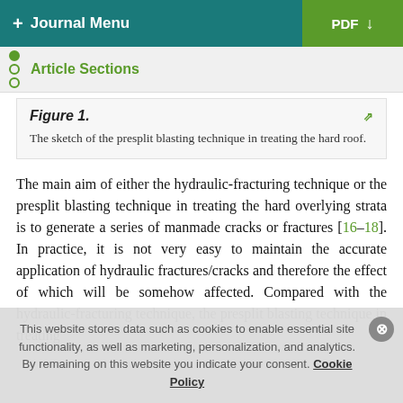+ Journal Menu   PDF ↓
Article Sections
Figure 1. The sketch of the presplit blasting technique in treating the hard roof.
The main aim of either the hydraulic-fracturing technique or the presplit blasting technique in treating the hard overlying strata is to generate a series of manmade cracks or fractures [16–18]. In practice, it is not very easy to maintain the accurate application of hydraulic fractures/cracks and therefore the effect of which will be somehow affected. Compared with the hydraulic-fracturing technique, the presplit blasting technique in treating
This website stores data such as cookies to enable essential site functionality, as well as marketing, personalization, and analytics. By remaining on this website you indicate your consent. Cookie Policy